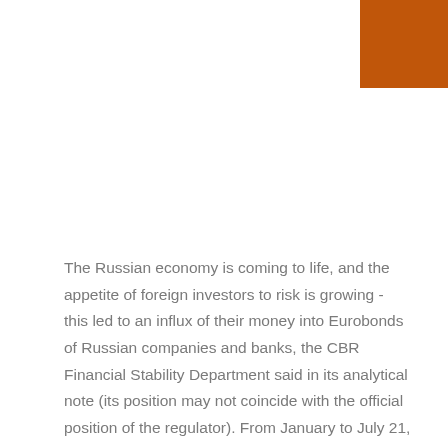[Figure (other): Orange square menu icon with two horizontal white bars in the top-right corner]
The Russian economy is coming to life, and the appetite of foreign investors to risk is growing - this led to an influx of their money into Eurobonds of Russian companies and banks, the CBR Financial Stability Department said in its analytical note (its position may not coincide with the official position of the regulator). From January to July 21, the companies placed eurobonds at $ 12.81 billion, banks - at $ 1.97 billion. The share of non-residents in the OFZ market grew by 3.8 percentage points to 30.7% by June 1.
The short-term effect can be positive, the ruble